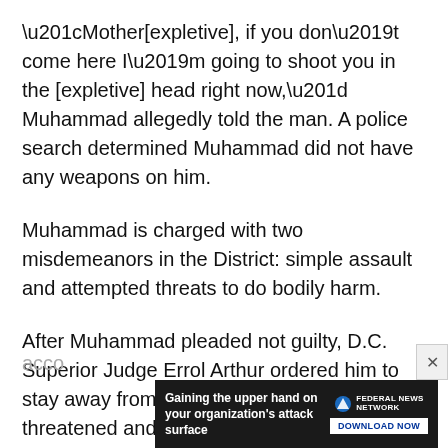“Mother[expletive], if you don’t come here I’m going to shoot you in the [expletive] head right now,” Muhammad allegedly told the man. A police search determined Muhammad did not have any weapons on him.
Muhammad is charged with two misdemeanors in the District: simple assault and attempted threats to do bodily harm.
After Muhammad pleaded not guilty, D.C. Superior Judge Errol Arthur ordered him to stay away from the man he allegedly threatened and the location where the threat was made, acco...
[Figure (other): Advertisement banner for Federal News Network: 'Gaining the upper hand on your organization's attack surface' with a DOWNLOAD NOW button.]